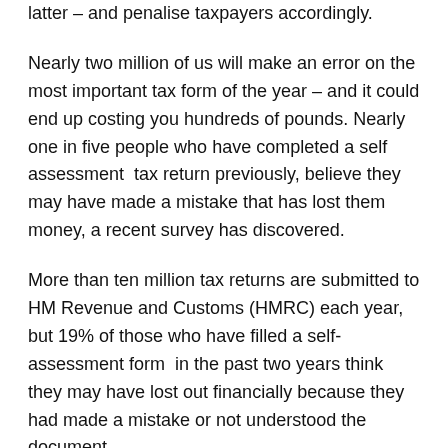taxman appears more likely to conclude the latter – and penalise taxpayers accordingly.
Nearly two million of us will make an error on the most important tax form of the year – and it could end up costing you hundreds of pounds. Nearly one in five people who have completed a self assessment  tax return previously, believe they may have made a mistake that has lost them money, a recent survey has discovered.
More than ten million tax returns are submitted to HM Revenue and Customs (HMRC) each year, but 19% of those who have filled a self-assessment form  in the past two years think they may have lost out financially because they had made a mistake or not understood the document.